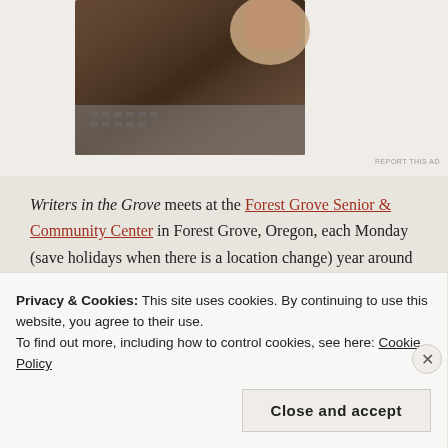[Figure (photo): Partial view of a person's hand on a laptop keyboard, dark brown laptop lid visible]
REPORT THIS AD
Writers in the Grove meets at the Forest Grove Senior & Community Center in Forest Grove, Oregon, each Monday (save holidays when there is a location change) year around from 9-11AM.

The group also meets on the second Saturday of the month
Privacy & Cookies: This site uses cookies. By continuing to use this website, you agree to their use.
To find out more, including how to control cookies, see here: Cookie Policy
Close and accept